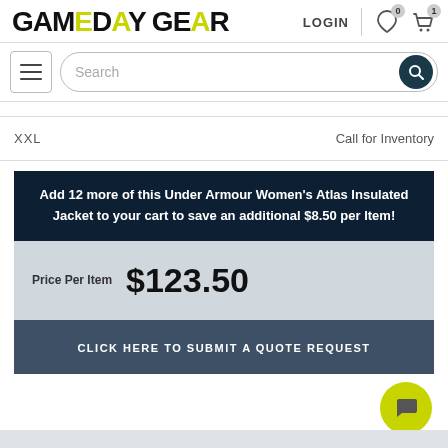GAMEDAY GEAR
LOGIN
XXL   Call for Inventory
Add 12 more of this Under Armour Women's Atlas Insulated Jacket to your cart to save an additional $8.50 per Item!
Price Per Item  $123.50
CLICK HERE TO SUBMIT A QUOTE REQUEST